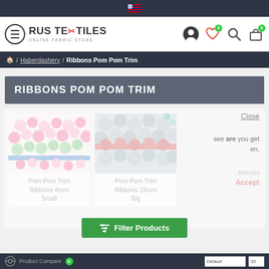RUS TEXTILES - ONLINE FABRIC STORE - navigation header with menu, logo, user/wishlist/search/cart icons
🏠 / Haberdashery / Ribbons Pom Pom Trim
RIBBONS POM POM TRIM
[Figure (photo): Product grid showing two pom pom trim ribbons: left card shows colorful 4mm small pom pom ribbon (pink, green, blue); right card shows 15mm big pom pom ribbon (dark red/grey). Cookie consent overlay partially visible. Filter Products button at bottom.]
Product Compare 0 | Default | 30